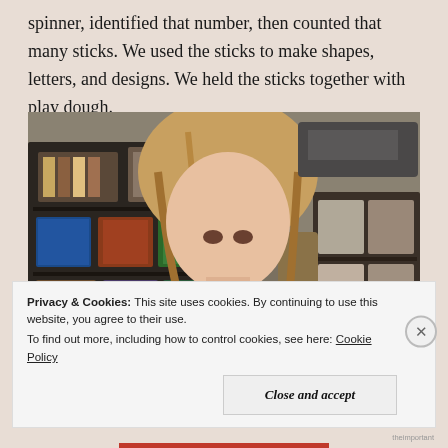spinner, identified that number, then counted that many sticks. We used the sticks to make shapes, letters, and designs. We held the sticks together with play dough.
[Figure (photo): A young girl with shoulder-length blonde hair wearing a pink top, leaning over a table working with craft materials. Behind her is a classroom or playroom with shelving units filled with bins, boxes, and supplies.]
Privacy & Cookies: This site uses cookies. By continuing to use this website, you agree to their use.
To find out more, including how to control cookies, see here: Cookie Policy
Close and accept